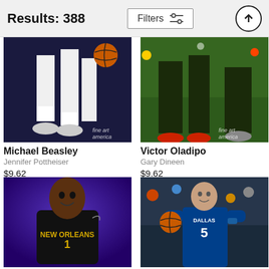Results: 388
Filters
[Figure (photo): Basketball photo showing Michael Beasley in New York Knicks uniform (legs/shoes visible) with fine art america watermark]
Michael Beasley
Jennifer Pottheiser
$9.62
[Figure (photo): Basketball action photo showing Victor Oladipo during a game with fine art america watermark]
Victor Oladipo
Gary Dineen
$9.62
[Figure (photo): Portrait photo of Zion Williamson in New Orleans Pelicans jersey against purple background]
[Figure (photo): Action photo of Dallas Mavericks player number 5 dribbling a basketball during a game]